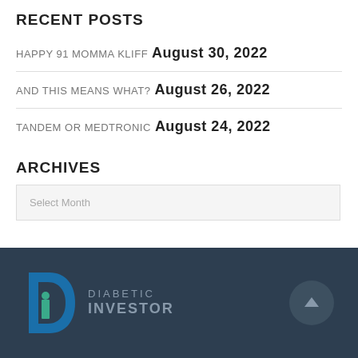RECENT POSTS
HAPPY 91 MOMMA KLIFF August 30, 2022
AND THIS MEANS WHAT? August 26, 2022
TANDEM OR MEDTRONIC August 24, 2022
ARCHIVES
Select Month
[Figure (logo): Diabetic Investor logo with stylized D and i letters in blue and teal, with text DIABETIC INVESTOR]